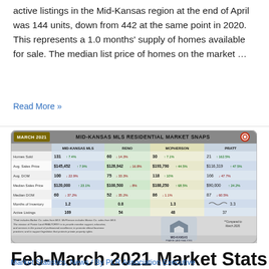active listings in the Mid-Kansas region at the end of April was 144 units, down from 442 at the same point in 2020. This represents a 1.0 months' supply of homes available for sale. The median list price of homes on the market …
Read More »
[Figure (table-as-image): Mid-Kansas MLS Residential Market Snapshot for March 2021 showing stats for Mid-Kansas MLS, Reno, McPherson, and Pratt regions including Homes Sold, Avg. Sales Price, Avg. DOM, Median Sales Price, Median DOM, Months of Inventory, and Active Listings.]
Feb-March 2021 Market Stats
Market Statistics, News / By PLR Association Executive